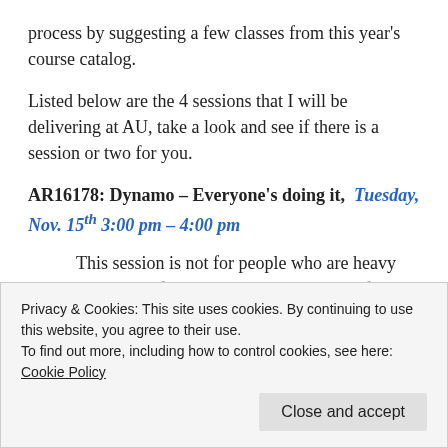process by suggesting a few classes from this year's course catalog.
Listed below are the 4 sessions that I will be delivering at AU, take a look and see if there is a session or two for you.
AR16178: Dynamo – Everyone's doing it,  Tuesday, Nov. 15th 3:00 pm – 4:00 pm
This session is not for people who are heavy Dynamo software users. This session is for people
Privacy & Cookies: This site uses cookies. By continuing to use this website, you agree to their use.
To find out more, including how to control cookies, see here: Cookie Policy